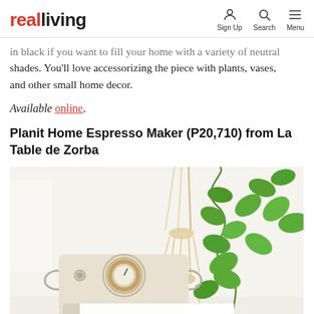realliving | Sign Up | Search | Menu
in black if you want to fill your home with a variety of neutral shades. You'll love accessorizing the piece with plants, vases, and other small home decor.
Available online.
Planit Home Espresso Maker (P20,710) from La Table de Zorba
[Figure (photo): A cream/beige vintage-style espresso maker with a round wooden-rimmed porthole gauge and metal handles, placed on a countertop beside a hanging macrame plant holder with trailing green pothos vine against a white background. The bottom portion shows a white overlay card.]